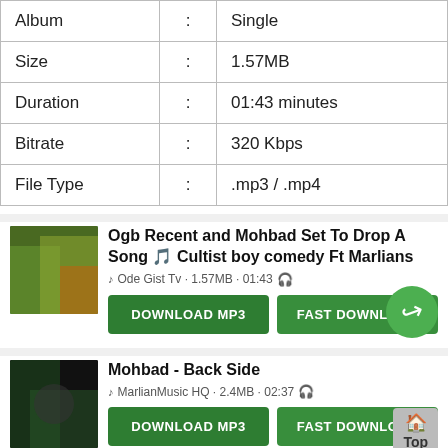| Album | : | Single |
| Size | : | 1.57MB |
| Duration | : | 01:43 minutes |
| Bitrate | : | 320 Kbps |
| File Type | : | .mp3 / .mp4 |
Ogb Recent and Mohbad Set To Drop A Song 🎵 Cultist boy comedy Ft Marlians
♪ Ode Gist Tv · 1.57MB · 01:43 🎧
DOWNLOAD MP3 | FAST DOWNLOAD
Mohbad - Back Side
♪ MarlianMusic HQ · 2.4MB · 02:37 🎧
DOWNLOAD MP3 | FAST DOWNLOAD